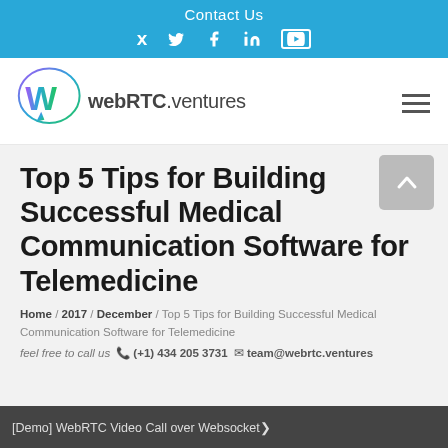Contact Us
[Figure (logo): webRTC.ventures logo with colorful W in speech bubble]
Top 5 Tips for Building Successful Medical Communication Software for Telemedicine
Home / 2017 / December / Top 5 Tips for Building Successful Medical Communication Software for Telemedicine
feel free to call us  (+1) 434 205 3731  team@webrtc.ventures
[Demo] WebRTC Video Call over WebSocket